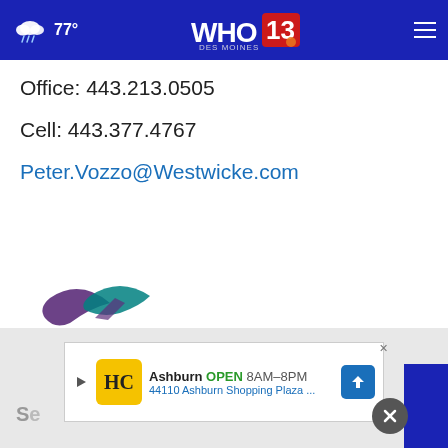WHO 13 Des Moines | 77° weather
Office: 443.213.0505
Cell: 443.377.4767
Peter.Vozzo@Westwicke.com
[Figure (logo): Zynerba Pharmaceuticals logo with tagline: Advancing Science | Improving Connections]
[Figure (screenshot): Advertisement banner: HC Ashburn OPEN 8AM-8PM 44110 Ashburn Shopping Plaza ...]